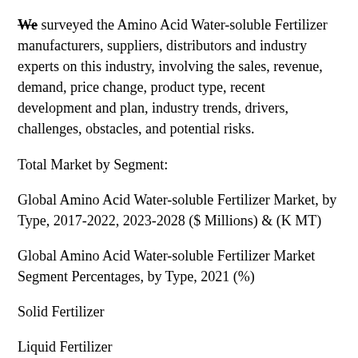We surveyed the Amino Acid Water-soluble Fertilizer manufacturers, suppliers, distributors and industry experts on this industry, involving the sales, revenue, demand, price change, product type, recent development and plan, industry trends, drivers, challenges, obstacles, and potential risks.
Total Market by Segment:
Global Amino Acid Water-soluble Fertilizer Market, by Type, 2017-2022, 2023-2028 ($ Millions) & (K MT)
Global Amino Acid Water-soluble Fertilizer Market Segment Percentages, by Type, 2021 (%)
Solid Fertilizer
Liquid Fertilizer